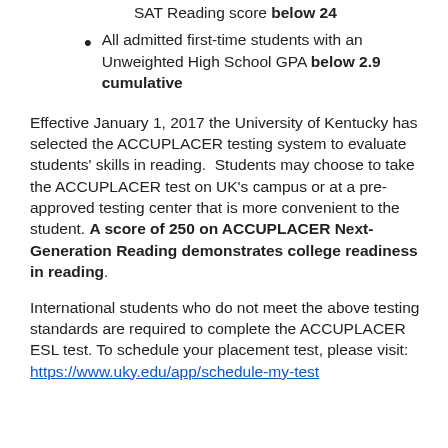SAT Reading score below 24
All admitted first-time students with an Unweighted High School GPA below 2.9 cumulative
Effective January 1, 2017 the University of Kentucky has selected the ACCUPLACER testing system to evaluate students' skills in reading.  Students may choose to take the ACCUPLACER test on UK's campus or at a pre-approved testing center that is more convenient to the student. A score of 250 on ACCUPLACER Next-Generation Reading demonstrates college readiness in reading.
International students who do not meet the above testing standards are required to complete the ACCUPLACER ESL test. To schedule your placement test, please visit: https://www.uky.edu/app/schedule-my-test